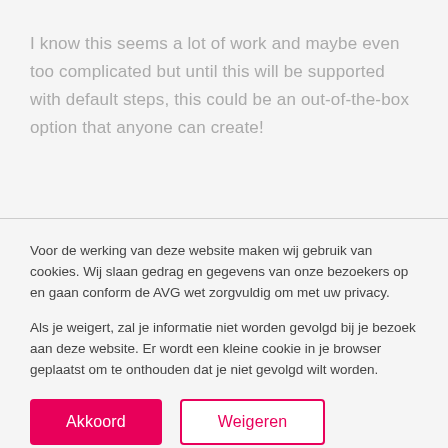I know this seems a lot of work and maybe even too complicated but until this will be supported with default steps, this could be an out-of-the-box option that anyone can create!
Voor de werking van deze website maken wij gebruik van cookies. Wij slaan gedrag en gegevens van onze bezoekers op en gaan conform de AVG wet zorgvuldig om met uw privacy.

Als je weigert, zal je informatie niet worden gevolgd bij je bezoek aan deze website. Er wordt een kleine cookie in je browser geplaatst om te onthouden dat je niet gevolgd wilt worden.
Akkoord
Weigeren